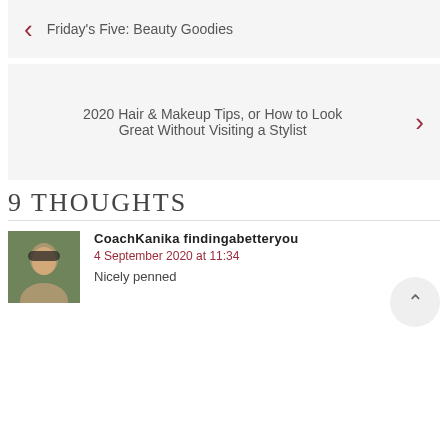← Friday's Five: Beauty Goodies
2020 Hair & Makeup Tips, or How to Look Great Without Visiting a Stylist →
9 THOUGHTS
CoachKanika findingabetteryou
4 September 2020 at 11:34
Nicely penned